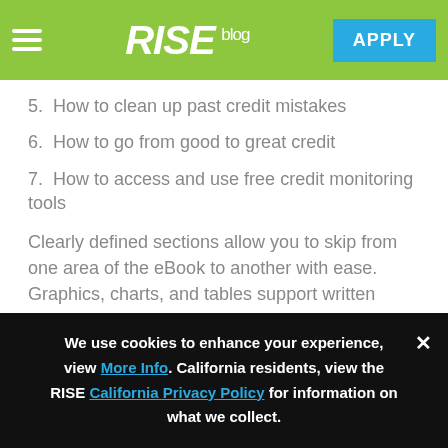RISE blog | APPLY
5.  How to clean up past credit mistakes
6.  How to go from good to great credit
7.  How to access and use free credit monitoring tools
Clearly defined sections allow you to skip from one area of the eBook to another with ease. Graphics, charts, and tables support written information with eye-catching, insightful visuals.
We use cookies to enhance your experience, view More Info. California residents, view the RISE California Privacy Policy for information on what we collect.